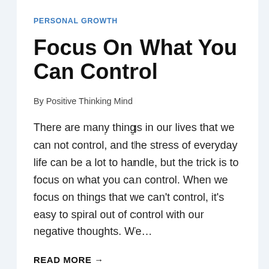PERSONAL GROWTH
Focus On What You Can Control
By Positive Thinking Mind
There are many things in our lives that we can not control, and the stress of everyday life can be a lot to handle, but the trick is to focus on what you can control. When we focus on things that we can't control, it's easy to spiral out of control with our negative thoughts. We…
READ MORE →